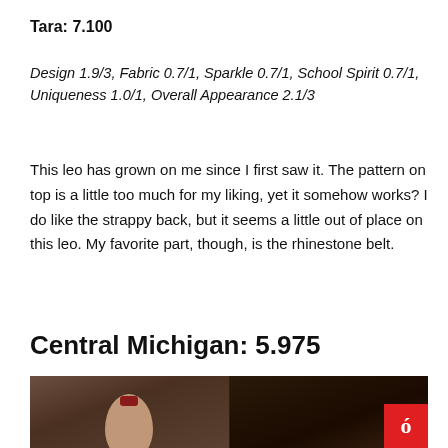Tara: 7.100
Design 1.9/3, Fabric 0.7/1, Sparkle 0.7/1, School Spirit 0.7/1, Uniqueness 1.0/1, Overall Appearance 2.1/3
This leo has grown on me since I first saw it. The pattern on top is a little too much for my liking, yet it somehow works? I do like the strappy back, but it seems a little out of place on this leo. My favorite part, though, is the rhinestone belt.
Central Michigan: 5.975
[Figure (photo): Two-panel photo showing gymnasts, with a red logo overlay in the bottom right corner]